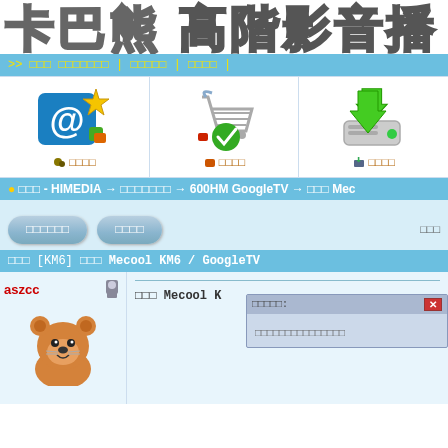卡巴熊 高階影音播
>> □□□ □□□□□□□ | □□□□□ | □□□□ |
[Figure (screenshot): Three icon cells: email/bookmark icon with label, shopping cart with checkmark icon with label, hard drive with download arrow icon with label]
○ □□□ - HIMEDIA → □□□□□□□ → 600HM GoogleTV → □□□ Mec
□□□□□□ □□□□
□□□ [KM6] □□□ Mecool KM6 / GoogleTV
aszcc
[Figure (illustration): Cartoon bear/otter mascot image]
□□□ Mecool K
□□□□□□□□□□□□□□□